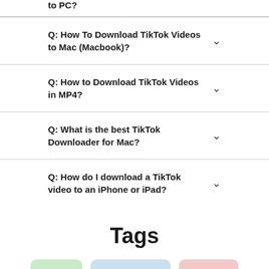to PC?
Q: How To Download TikTok Videos to Mac (Macbook)?
Q: How to Download TikTok Videos in MP4?
Q: What is the best TikTok Downloader for Mac?
Q: How do I download a TikTok video to an iPhone or iPad?
Tags
SSSTIK
SNAP TIK APP
SAVE TIK